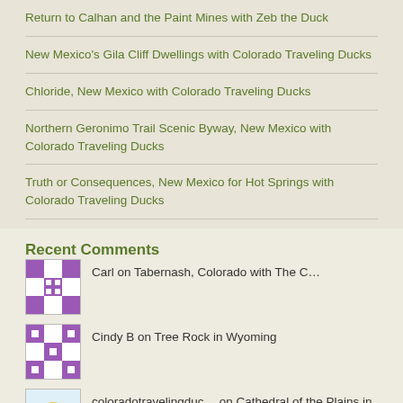Return to Calhan and the Paint Mines with Zeb the Duck
New Mexico's Gila Cliff Dwellings with Colorado Traveling Ducks
Chloride, New Mexico with Colorado Traveling Ducks
Northern Geronimo Trail Scenic Byway, New Mexico with Colorado Traveling Ducks
Truth or Consequences, New Mexico for Hot Springs with Colorado Traveling Ducks
Recent Comments
Carl on Tabernash, Colorado with The C…
Cindy B on Tree Rock in Wyoming
coloradotravelingduc… on Cathedral of the Plains in Vic…